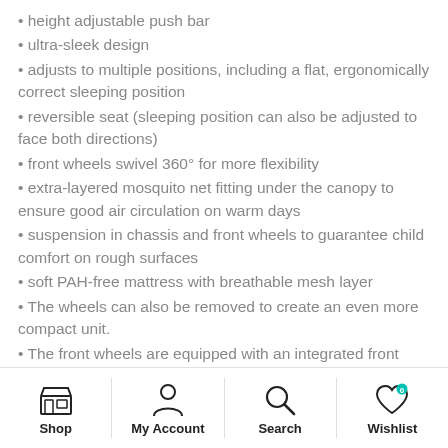height adjustable push bar
ultra-sleek design
adjusts to multiple positions, including a flat, ergonomically correct sleeping position
reversible seat (sleeping position can also be adjusted to face both directions)
front wheels swivel 360° for more flexibility
extra-layered mosquito net fitting under the canopy to ensure good air circulation on warm days
suspension in chassis and front wheels to guarantee child comfort on rough surfaces
soft PAH-free mattress with breathable mesh layer
The wheels can also be removed to create an even more compact unit.
The front wheels are equipped with an integrated front wheel suspension, which improves comfort for the
Shop | My Account | Search | Wishlist